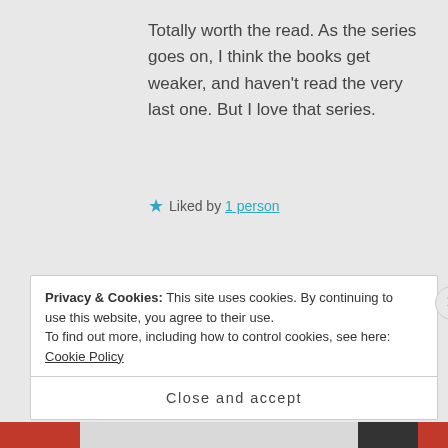Totally worth the read. As the series goes on, I think the books get weaker, and haven't read the very last one. But I love that series.
★ Liked by 1 person
ROBIN RIVERA says: Reply
April 3, 2015 at 20:22
I am so up for joining a Ready Player
Privacy & Cookies: This site uses cookies. By continuing to use this website, you agree to their use.
To find out more, including how to control cookies, see here: Cookie Policy
Close and accept